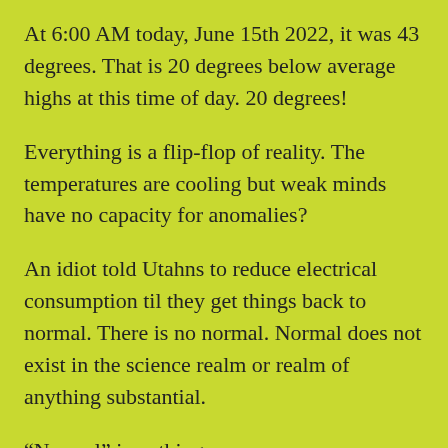At 6:00 AM today, June 15th 2022, it was 43 degrees. That is 20 degrees below average highs at this time of day. 20 degrees!
Everything is a flip-flop of reality. The temperatures are cooling but weak minds have no capacity for anomalies?
An idiot told Utahns to reduce electrical consumption til they get things back to normal. There is no normal. Normal does not exist in the science realm or realm of anything substantial.
“Normal” is nothing.
What is the average daily electricity consumption and demand? What is the rate today, and why is the rate